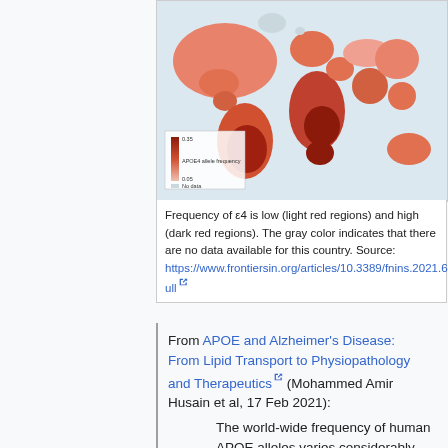[Figure (map): World map showing APOE ε4 allele frequency by country. Light red regions indicate low frequency, dark red indicates high frequency, and gray indicates no data available.]
Frequency of ε4 is low (light red regions) and high (dark red regions). The gray color indicates that there are no data available for this country. Source: https://www.frontiersin.org/articles/10.3389/fnins.2021.630502/full
From APOE and Alzheimer's Disease: From Lipid Transport to Physiopathology and Therapeutics (Mohammed Amir Husain et al, 17 Feb 2021):
The world-wide frequency of human APOE alleles varies considerably. APOE3 is the most common among all human